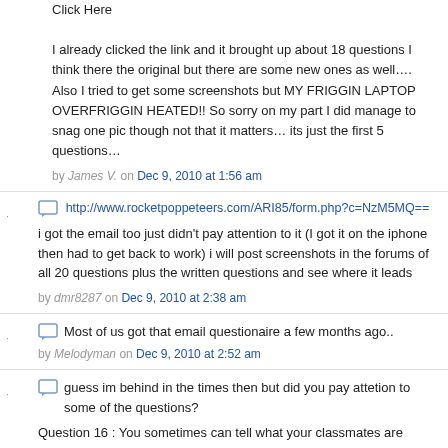Click Here

I already clicked the link and it brought up about 18 questions I think there the original but there are some new ones as well….
Also I tried to get some screenshots but MY FRIGGIN LAPTOP OVERFRIGGIN HEATED!! So sorry on my part I did manage to snag one pic though not that it matters… its just the first 5 questions…
by James V. on Dec 9, 2010 at 1:56 am
http://www.rocketpoppeteers.com/ARI85/form.php?c=NzM5MQ==
i got the email too just didn't pay attention to it (I got it on the iphone then had to get back to work) i will post screenshots in the forums of all 20 questions plus the written questions and see where it leads
by dmr8287 on Dec 9, 2010 at 2:38 am
Most of us got that email questionaire a few months ago..
by Melodyman on Dec 9, 2010 at 2:52 am
guess im behind in the times then but did you pay attetion to some of the questions?

Question 16 : You sometimes can tell what your classmates are thinking?

Question 7: You believe that aliens live on other planets?

those questions in conjunction with other speculations from this website got